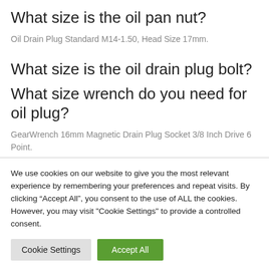What size is the oil pan nut?
Oil Drain Plug Standard M14-1.50, Head Size 17mm.
What size is the oil drain plug bolt?
What size wrench do you need for oil plug?
GearWrench 16mm Magnetic Drain Plug Socket 3/8 Inch Drive 6 Point.
We use cookies on our website to give you the most relevant experience by remembering your preferences and repeat visits. By clicking “Accept All”, you consent to the use of ALL the cookies. However, you may visit "Cookie Settings" to provide a controlled consent.